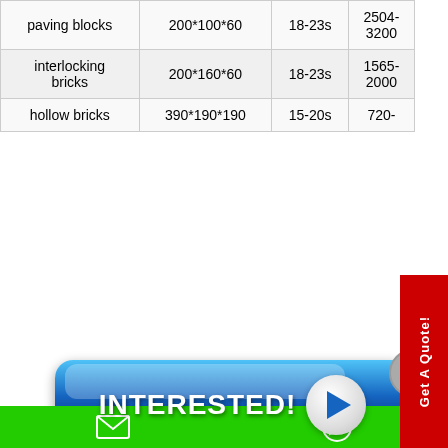| Product | Size (mm) | Cycle Time | Capacity (pcs/hr) |
| --- | --- | --- | --- |
| paving blocks | 200*100*60 | 18-23s | 2504-3200 |
| interlocking bricks | 200*160*60 | 18-23s | 1565-2000 |
| hollow bricks | 390*190*190 | 15-20s | 720- |
[Figure (other): Blue glossy 'INTERESTED!' call-to-action button with play icon, and a red vertical 'Get A Quote!' sidebar banner]
[Figure (other): Grey circular scroll-to-top arrow button]
[Figure (other): Green footer bar with email icon and WhatsApp icon]